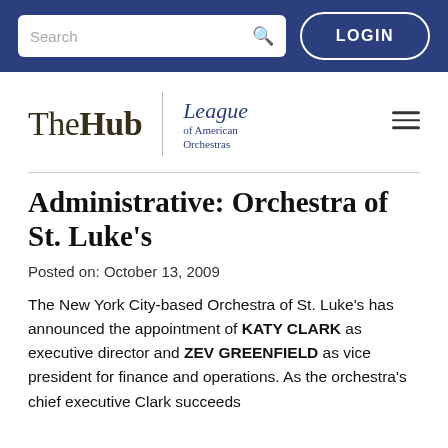Search | LOGIN
[Figure (logo): The Hub | League of American Orchestras logo with hamburger menu]
Administrative: Orchestra of St. Luke’s
Posted on: October 13, 2009
The New York City-based Orchestra of St. Luke’s has announced the appointment of KATY CLARK as executive director and ZEV GREENFIELD as vice president for finance and operations. As the orchestra’s chief executive Clark succeeds